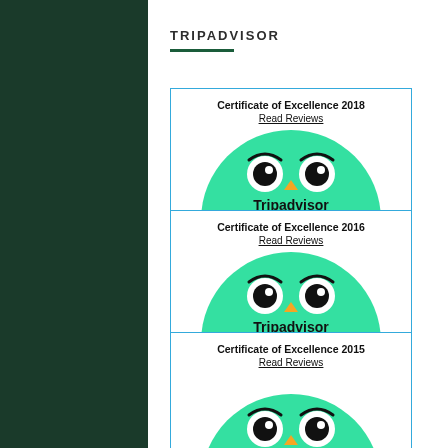TRIPADVISOR
[Figure (logo): Tripadvisor Certificate of Excellence 2018 card with Tripadvisor owl logo on green semicircle background]
[Figure (logo): Tripadvisor Certificate of Excellence 2016 card with Tripadvisor owl logo on green semicircle background]
[Figure (logo): Tripadvisor Certificate of Excellence 2015 card with Tripadvisor owl logo on green semicircle background]